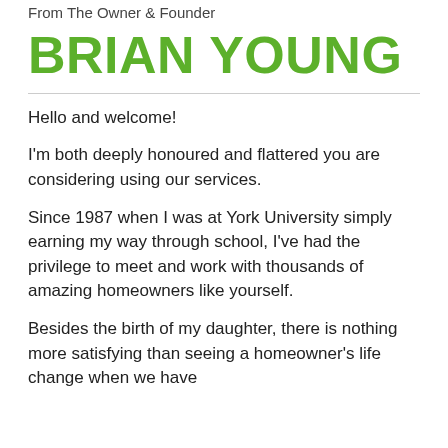From The Owner & Founder
BRIAN YOUNG
Hello and welcome!
I'm both deeply honoured and flattered you are considering using our services.
Since 1987 when I was at York University simply earning my way through school, I've had the privilege to meet and work with thousands of amazing homeowners like yourself.
Besides the birth of my daughter, there is nothing more satisfying than seeing a homeowner's life change when we have